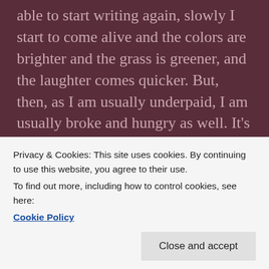able to start writing again, slowly I start to come alive and the colors are brighter and the grass is greener, and the laughter comes quicker. But, then, as I am usually underpaid, I am usually broke and hungry as well. It's a double-edged sword.
This time it's not like that. I'm not underpaid, and I am starting to very slightly get that sense. It's like... war. Like, me, sitting in this remote corner of..today it is the library at the local college, casually slouched in a chair with my feet propped upon a table, and my laptop resting in my lap, is battling forces of good
Privacy & Cookies: This site uses cookies. By continuing to use this website, you agree to their use.
To find out more, including how to control cookies, see here: Cookie Policy
and combat boots. And I was militantly screaming,